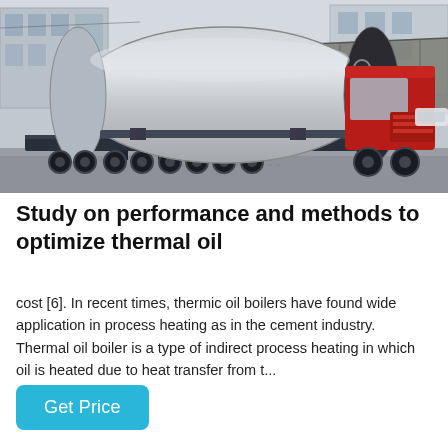[Figure (photo): A large industrial thermal oil boiler cylinder mounted horizontally on a heavy-duty flatbed truck/trailer being transported in an industrial yard. A red truck cab is visible on the right. Industrial buildings and a canopy structure are visible in the background.]
Study on performance and methods to optimize thermal oil
cost [6]. In recent times, thermic oil boilers have found wide application in process heating as in the cement industry. Thermal oil boiler is a type of indirect process heating in which oil is heated due to heat transfer from t...